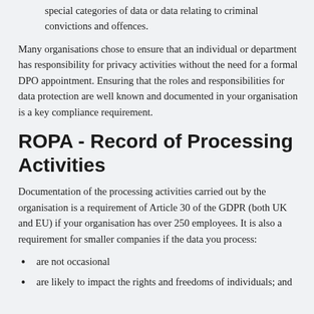special categories of data or data relating to criminal convictions and offences.
Many organisations chose to ensure that an individual or department has responsibility for privacy activities without the need for a formal DPO appointment. Ensuring that the roles and responsibilities for data protection are well known and documented in your organisation is a key compliance requirement.
ROPA - Record of Processing Activities
Documentation of the processing activities carried out by the organisation is a requirement of Article 30 of the GDPR (both UK and EU) if your organisation has over 250 employees. It is also a requirement for smaller companies if the data you process:
are not occasional
are likely to impact the rights and freedoms of individuals; and